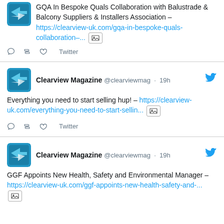GQA In Bespoke Quals Collaboration with Balustrade & Balcony Suppliers & Installers Association – https://clearview-uk.com/gqa-in-bespoke-quals-collaboration-... [image]
Twitter
Clearview Magazine @clearviewmag · 19h
Everything you need to start selling hup! – https://clearview-uk.com/everything-you-need-to-start-sellin... [image]
Twitter
Clearview Magazine @clearviewmag · 19h
GGF Appoints New Health, Safety and Environmental Manager – https://clearview-uk.com/ggf-appoints-new-health-safety-and-... [image]